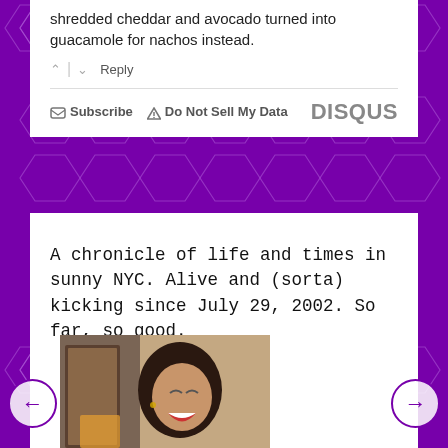shredded cheddar and avocado turned into guacamole for nachos instead.
^ | v  Reply
✉ Subscribe  ⚠ Do Not Sell My Data    DISQUS
A chronicle of life and times in sunny NYC. Alive and (sorta) kicking since July 29, 2002. So far, so good.
[Figure (photo): A woman laughing, photographed indoors, dark hair, candid shot]